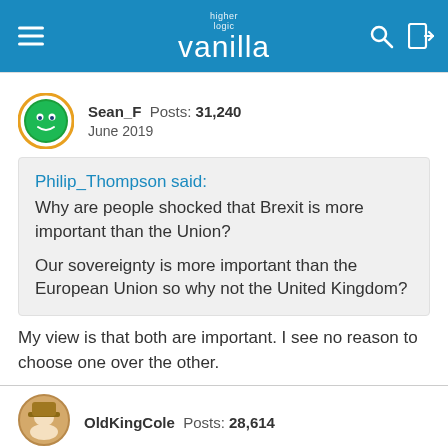[Figure (screenshot): Vanilla community forum website header with logo and navigation icons]
Sean_F  Posts: 31,240
June 2019
Philip_Thompson said:
Why are people shocked that Brexit is more important than the Union?

Our sovereignty is more important than the European Union so why not the United Kingdom?
My view is that both are important. I see no reason to choose one over the other.
OldKingCole  Posts: 28,614